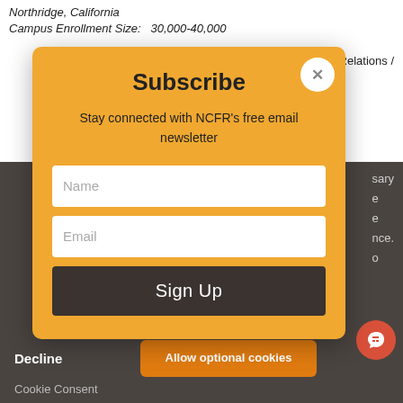Northridge, California
Campus Enrollment Size:   30,000-40,000
Relations /
[Figure (screenshot): Subscribe modal popup with yellow/orange background. Contains title 'Subscribe', description text 'Stay connected with NCFR's free email newsletter', Name input field, Email input field, and 'Sign Up' dark button. A white close button (X) is in the top right corner.]
sary
e
e
nce.
o
Learn more
Decline
Allow optional cookies
Cookie Consent